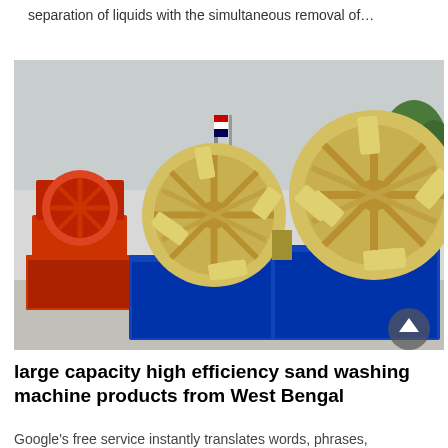separation of liquids with the simultaneous removal of…
[Figure (photo): Industrial sand washing machines: one red unit on the left and two large yellow paddle-wheel style sand washers mounted on blue metal troughs, displayed outdoors on a concrete surface with trees and buildings in the background.]
large capacity high efficiency sand washing machine products from West Bengal
Google's free service instantly translates words, phrases,